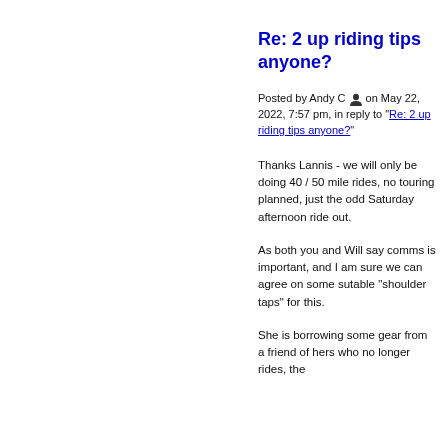Re: 2 up riding tips anyone?
Posted by Andy C 👤 on May 22, 2022, 7:57 pm, in reply to "Re: 2 up riding tips anyone?"
Thanks Lannis - we will only be doing 40 / 50 mile rides, no touring planned, just the odd Saturday afternoon ride out.
As both you and Will say comms is important, and I am sure we can agree on some sutable "shoulder taps" for this.
She is borrowing some gear from a friend of hers who no longer rides, the